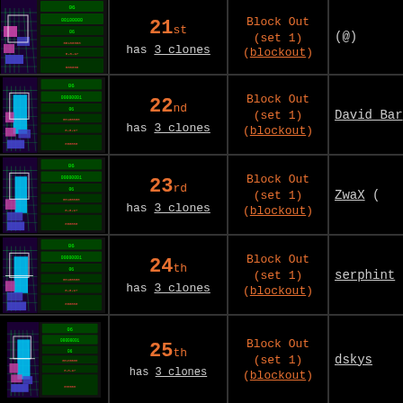| Screenshot | Rank | Game | User |
| --- | --- | --- | --- |
| [game screenshot] | 21st
has 3 clones | Block Out (set 1)
(blockout) | (@) |
| [game screenshot] | 22nd
has 3 clones | Block Out (set 1)
(blockout) | David Bar |
| [game screenshot] | 23rd
has 3 clones | Block Out (set 1)
(blockout) | ZwaX ( |
| [game screenshot] | 24th
has 3 clones | Block Out (set 1)
(blockout) | serphint |
| [game screenshot] | 25th
has 3 clones | Block Out (set 1)
(blockout) | dskys |